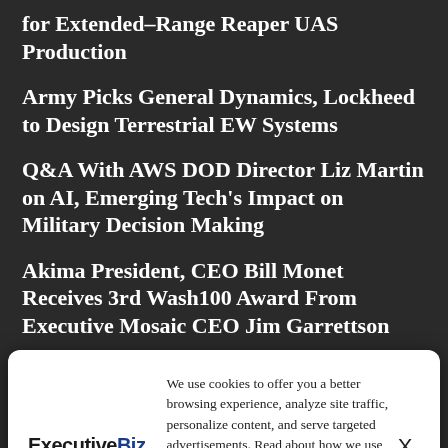for Extended-Range Reaper UAS Production
Army Picks General Dynamics, Lockheed to Design Terrestrial EW Systems
Q&A With AWS DOD Director Liz Martin on AI, Emerging Tech's Impact on Military Decision Making
Akima President, CEO Bill Monet Receives 3rd Wash100 Award From Executive Mosaic CEO Jim Garrettson
Paul Strasser Appointed Deep Water Point Small
[Figure (logo): ExecutiveBiz logo with tagline 'by Content Executive']
We use cookies to offer you a better browsing experience, analyze site traffic, personalize content, and serve targeted advertisements. Read about how we use cookies and how you can control them on our Privacy Policy. If you continue to use this site, you consent to our use of cookies.
VP